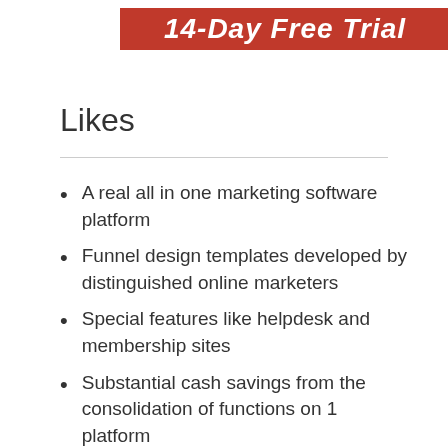[Figure (other): Red banner with white bold italic text partially visible, reading '14-Day Free Trial' or similar]
Likes
A real all in one marketing software platform
Funnel design templates developed by distinguished online marketers
Special features like helpdesk and membership sites
Substantial cash savings from the consolidation of functions on 1 platform